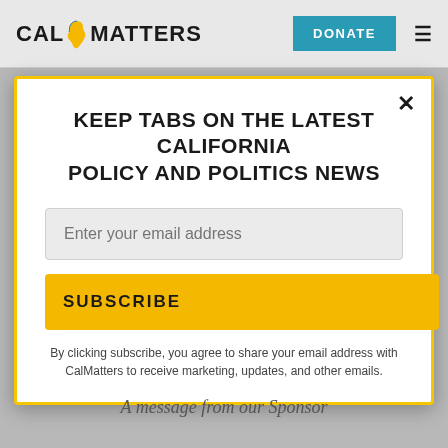CAL MATTERS — DONATE
KEEP TABS ON THE LATEST CALIFORNIA POLICY AND POLITICS NEWS
Enter your email address
SUBSCRIBE
By clicking subscribe, you agree to share your email address with CalMatters to receive marketing, updates, and other emails.
A message from our Sponsor